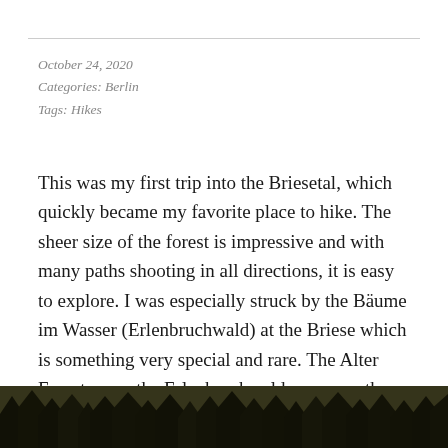October 24, 2020
Categories: Berlin
Tags: Hikes
This was my first trip into the Briesetal, which quickly became my favorite place to hike. The sheer size of the forest is impressive and with many paths shooting in all directions, it is easy to explore. I was especially struck by the Bäume im Wasser (Erlenbruchwald) at the Briese which is something very special and rare. The Alter Forest area,  the Erlenbruchwald was once the most widespread habitat in the Spreewald.
[Figure (photo): Dark silhouetted treeline/forest photograph strip at the bottom of the page]